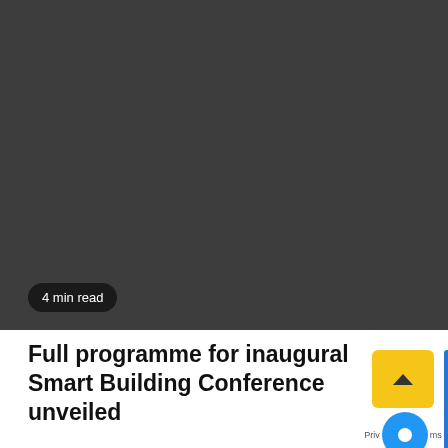[Figure (photo): Dark grey placeholder image area occupying the top portion of the page with a '4 min read' badge in the lower left corner]
Full programme for inaugural Smart Building Conference unveiled